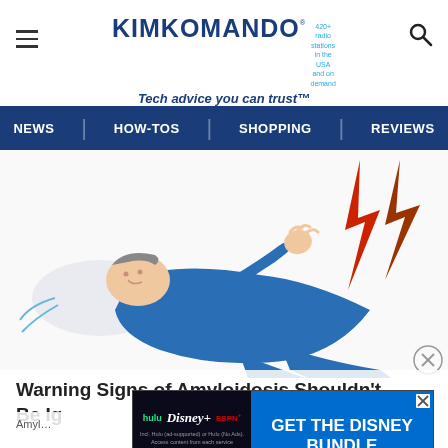KIMKOMANDO® 420+ radio stations in the USA and on demand Tech advice you can trust™
NEWS | HOW-TOS | SHOPPING | REVIEWS
[Figure (illustration): Illustration of a person lying in bed wearing blue pajamas, with a red lightning bolt pointing at their feet/leg, suggesting pain or discomfort. The person appears to be in distress.]
Warning Signs of Amyloidosis Shouldn't Be Ig…
Amyl…
[Figure (other): Disney Bundle advertisement banner showing Hulu, Disney+, and ESPN+ logos with text 'GET THE DISNEY BUNDLE'. Incl. Hulu (ad-supported) or Hulu (No Ads). Access content from each service separately. ©2021 Disney and its related entities.]